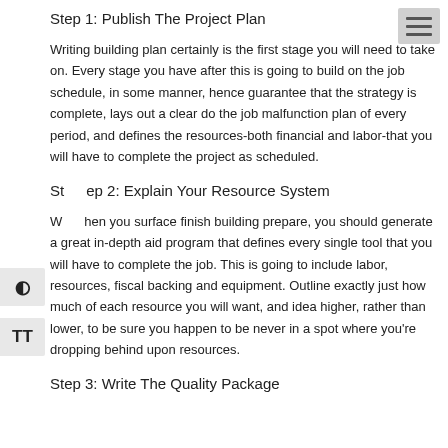Step 1: Publish The Project Plan
Writing building plan certainly is the first stage you will need to take on. Every stage you have after this is going to build on the job schedule, in some manner, hence guarantee that the strategy is complete, lays out a clear do the job malfunction plan of every period, and defines the resources-both financial and labor-that you will have to complete the project as scheduled.
Step 2: Explain Your Resource System
When you surface finish building prepare, you should generate a great in-depth aid program that defines every single tool that you will have to complete the job. This is going to include labor, resources, fiscal backing and equipment. Outline exactly just how much of each resource you will want, and idea higher, rather than lower, to be sure you happen to be never in a spot where you're dropping behind upon resources.
Step 3: Write The Quality Package